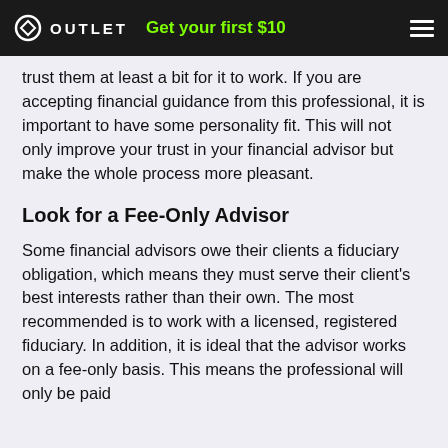OUTLET  Get your first $10
trust them at least a bit for it to work. If you are accepting financial guidance from this professional, it is important to have some personality fit. This will not only improve your trust in your financial advisor but make the whole process more pleasant.
Look for a Fee-Only Advisor
Some financial advisors owe their clients a fiduciary obligation, which means they must serve their client's best interests rather than their own. The most recommended is to work with a licensed, registered fiduciary. In addition, it is ideal that the advisor works on a fee-only basis. This means the professional will only be paid